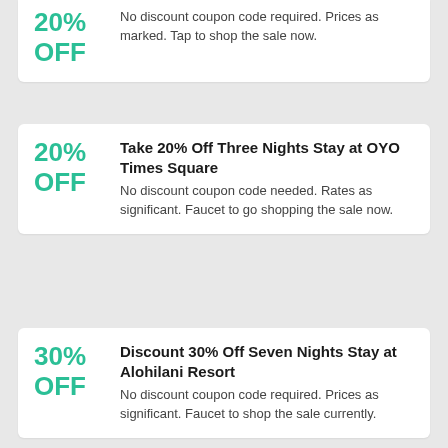20% OFF — Stay at Goodtime Hotel. No discount coupon code required. Prices as marked. Tap to shop the sale now.
Take 20% Off Three Nights Stay at OYO Times Square
No discount coupon code needed. Rates as significant. Faucet to go shopping the sale now.
Discount 30% Off Seven Nights Stay at Alohilani Resort
No discount coupon code required. Prices as significant. Faucet to shop the sale currently.